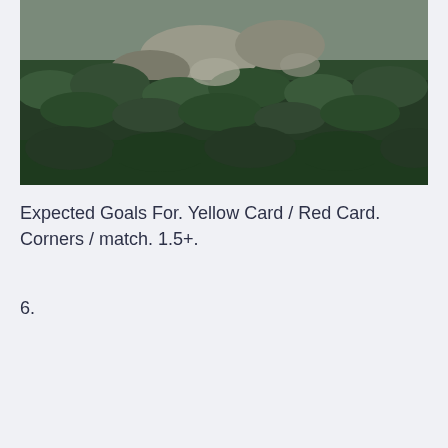[Figure (photo): Landscape photo of a forested mountain hillside with rocky outcrops visible through dense green tree cover.]
Expected Goals For. Yellow Card / Red Card. Corners / match. 1.5+.
6.